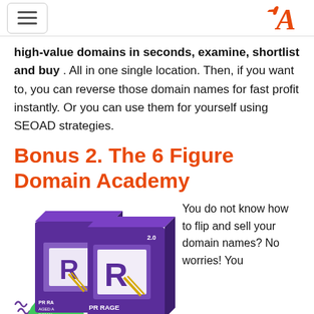[hamburger menu icon] [A logo]
high-value domains in seconds, examine, shortlist and buy . All in one single location. Then, if you want to, you can reverse those domain names for fast profit instantly. Or you can use them for yourself using SEOAD strategies.
Bonus 2. The 6 Figure Domain Academy
[Figure (photo): Two purple 3D software boxes labeled 'PR RAGE 2.0 AGED AND HIGH TRAFFIC DOMAIN SOFTWARE' with a white R logo]
You do not know how to flip and sell your domain names? No worries! You